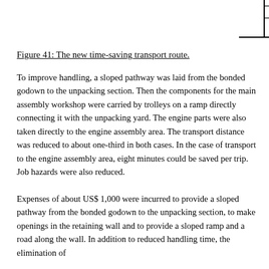[Figure (schematic): Partial corner diagram showing two perpendicular lines forming an L-shape bracket or border element in the top-right corner of the page.]
Figure 41: The new time-saving transport route.
To improve handling, a sloped pathway was laid from the bonded godown to the unpacking section. Then the components for the main assembly workshop were carried by trolleys on a ramp directly connecting it with the unpacking yard. The engine parts were also taken directly to the engine assembly area. The transport distance was reduced to about one-third in both cases. In the case of transport to the engine assembly area, eight minutes could be saved per trip. Job hazards were also reduced.
Expenses of about US$ 1,000 were incurred to provide a sloped pathway from the bonded godown to the unpacking section, to make openings in the retaining wall and to provide a sloped ramp and a road along the wall. In addition to reduced handling time, the elimination of